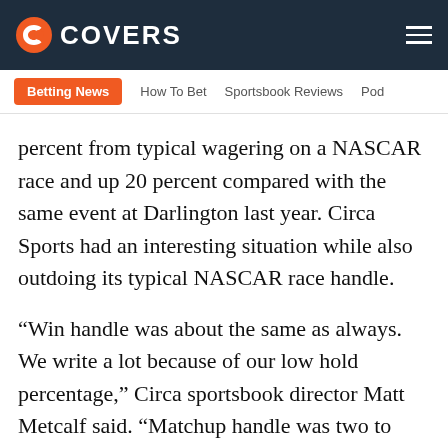COVERS
Betting News | How To Bet | Sportsbook Reviews | Pod
percent from typical wagering on a NASCAR race and up 20 percent compared with the same event at Darlington last year. Circa Sports had an interesting situation while also outdoing its typical NASCAR race handle.
“Win handle was about the same as always. We write a lot because of our low hold percentage,” Circa sportsbook director Matt Metcalf said. “Matchup handle was two to three times as much.”